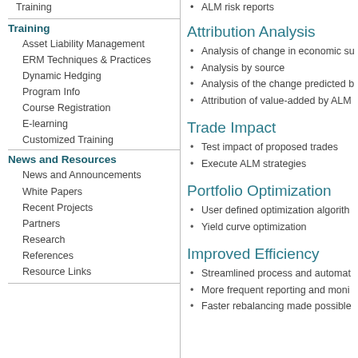Training
Training
Asset Liability Management
ERM Techniques & Practices
Dynamic Hedging
Program Info
Course Registration
E-learning
Customized Training
News and Resources
News and Announcements
White Papers
Recent Projects
Partners
Research
References
Resource Links
ALM risk reports
Attribution Analysis
Analysis of change in economic su
Analysis by source
Analysis of the change predicted b
Attribution of value-added by ALM
Trade Impact
Test impact of proposed trades
Execute ALM strategies
Portfolio Optimization
User defined optimization algorith
Yield curve optimization
Improved Efficiency
Streamlined process and automat
More frequent reporting and moni
Faster rebalancing made possible